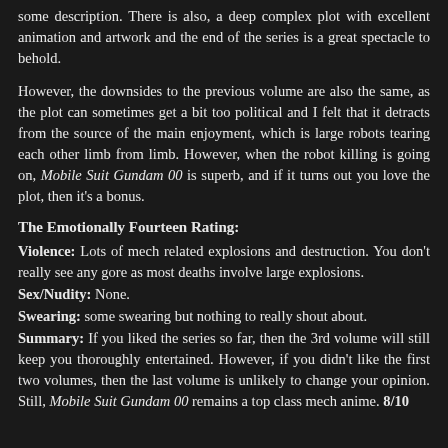some description. There is also, a deep complex plot with excellent animation and artwork and the end of the series is a great spectacle to behold.
However, the downsides to the previous volume are also the same, as the plot can sometimes get a bit too political and I felt that it detracts from the source of the main enjoyment, which is large robots tearing each other limb from limb. However, when the robot killing is going on, Mobile Suit Gundam 00 is superb, and if it turns out you love the plot, then it's a bonus.
The Emotionally Fourteen Rating:
Violence: Lots of mech related explosions and destruction. You don't really see any gore as most deaths involve large explosions.
Sex/Nudity: None.
Swearing: some swearing but nothing to really shout about.
Summary: If you liked the series so far, then the 3rd volume will still keep you thoroughly entertained. However, if you didn't like the first two volumes, then the last volume is unlikely to change your opinion. Still, Mobile Suit Gundam 00 remains a top class mech anime. 8/10